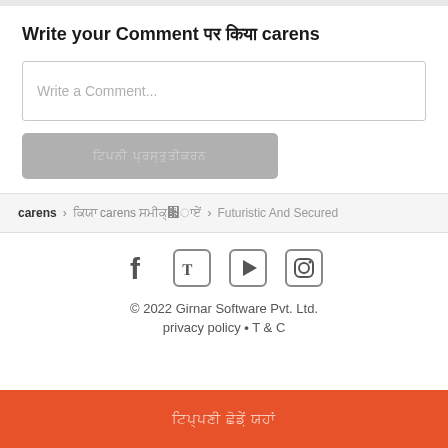Write your Comment पर किया carens
Write a Comment...
टिप्पणी प्रस्तुतीकरण
carens › किया carens समीक्षाएं › Futuristic And Secured
[Figure (other): Social media icons: Facebook, Twitter, YouTube, Instagram]
© 2022 Girnar Software Pvt. Ltd.
privacy policy • T & C
टिप्पणी छोड़ें यहाँ